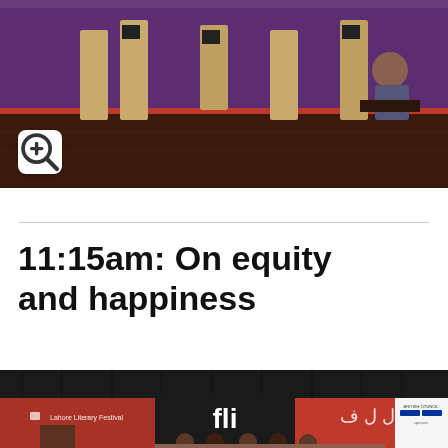[Figure (photo): Interior photo of an exhibition or event space with purple walls, wooden floor, cardboard booth structures, and people in the background. A zoom/magnify icon button appears in the lower-left corner of the image.]
11:15am: On equity and happiness
[Figure (photo): Photo of a stage/panel setup at the Lahore Literary Festival. A red backdrop features the LLF logo (stylized letters) in black and white and Arabic script. Panelists are seated on stage. A sponsors banner is visible on the right side.]